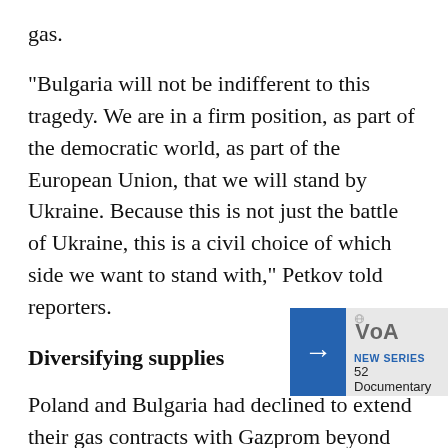gas.
"Bulgaria will not be indifferent to this tragedy. We are in a firm position, as part of the democratic world, as part of the European Union, that we will stand by Ukraine. Because this is not just the battle of Ukraine, this is a civil choice of which side we want to stand with," Petkov told reporters.
Diversifying supplies
Poland and Bulgaria had declined to extend their gas contracts with Gazprom beyond this year. Both are diversifying their supplies of pipeline and liquified natural gas (LNG), said Tom Marzec-Manser, head of gas analytics [obscured] Market Intellig[obscured]
[Figure (other): VOA advertisement banner with blue arrow button, VOA logo, NEW SERIES label and '52 Documentary' text]
“Given they w[obscured]